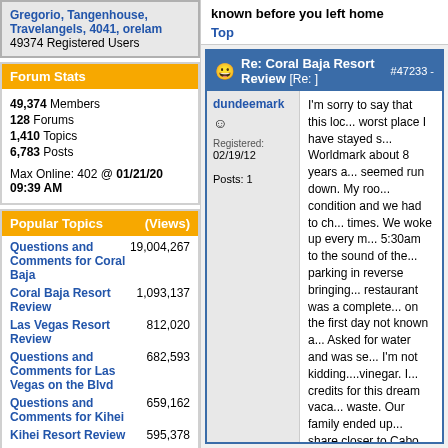Gregorio, Tangenhouse, Travelangels, 4041, orelam
49374 Registered Users
Forum Stats
49,374 Members
128 Forums
1,410 Topics
6,783 Posts

Max Online: 402 @ 01/21/20 09:39 AM
Popular Topics (Views)
Questions and Comments for Coral Baja — 19,004,267
Coral Baja Resort Review — 1,093,137
Las Vegas Resort Review — 812,020
Questions and Comments for Las Vegas on the Blvd — 682,593
Questions and Comments for Kihei — 659,162
Kihei Resort Review — 595,378
known before you left home
Top
Re: Coral Baja Resort Review [Re: ] #47233 -
dundeemark
Registered: 02/19/12
Posts: 1

I'm sorry to say that this loc... worst place I have stayed s... Worldmark about 8 years a... seemed run down. My roo... condition and we had to ch... times. We woke up every m... 5:30am to the sound of the... parking in reverse bringing... restaurant was a complete... on the first day not known a... Asked for water and was se... I'm not kidding....vinegar. I... credits for this dream vaca... waste. Our family ended up... share closer to Cabo. That'... be ready to spend time and... traveling to Cabo about 20-... Where the Hotel is there is... swim on the beach. I could... but I don't want to waste an... time with this place. I write... other's aware to beware.